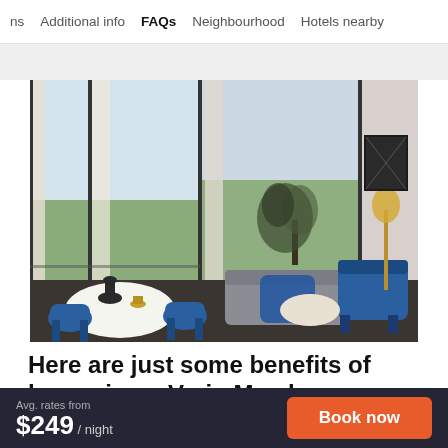ns   Additional info   FAQs   Neighbourhood   Hotels nearby
[Figure (photo): Modern hotel suite with floor-to-ceiling windows overlooking a landscaped view. Blue velvet armchairs and a grey sofa are arranged around a round coffee table. A dining table with blue chairs is in the foreground. A gold floor lamp and framed artwork are on the right.]
Here are just some benefits of becoming a Veriu Member
Avg. rates from $249 / night
Book now